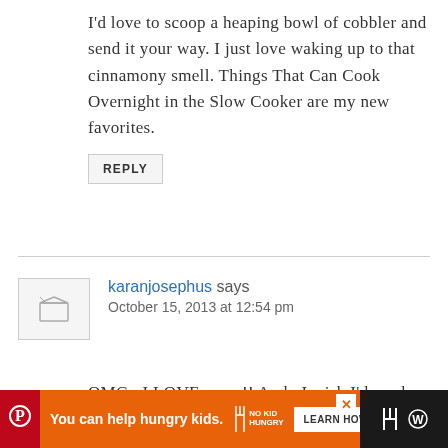I'd love to scoop a heaping bowl of cobbler and send it your way. I just love waking up to that cinnamony smell. Things That Can Cook Overnight in the Slow Cooker are my new favorites.
REPLY
karanjosephus says
October 15, 2013 at 12:54 pm
OMG...I LOVE pears!! And...I wish I'd used your friend for a CSA. Really not happy with ours and Steve is not even willing to try another
You can help hungry kids. NO KID HUNGRY LEARN HOW